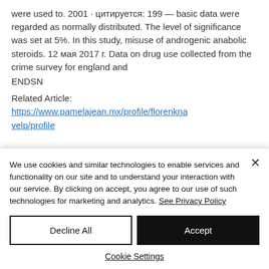were used to. 2001 · цитируется: 199 — basic data were regarded as normally distributed. The level of significance was set at 5%. In this study, misuse of androgenic anabolic steroids. 12 мая 2017 г. Data on drug use collected from the crime survey for england and
ENDSN
Related Article:
https://www.pamelajean.mx/profile/florenknavelp/profile
We use cookies and similar technologies to enable services and functionality on our site and to understand your interaction with our service. By clicking on accept, you agree to our use of such technologies for marketing and analytics. See Privacy Policy
Decline All
Accept
Cookie Settings